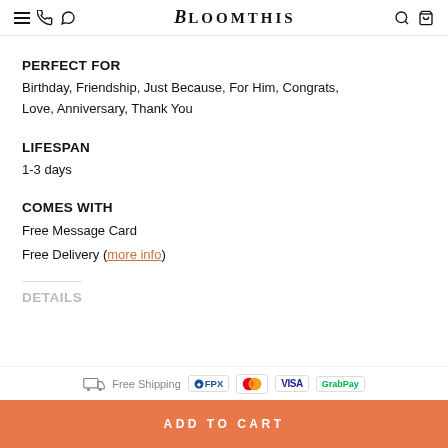BloomThis
PERFECT FOR
Birthday, Friendship, Just Because, For Him, Congrats, Love, Anniversary, Thank You
LIFESPAN
1-3 days
COMES WITH
Free Message Card
Free Delivery (more info)
DETAILS
Free Shipping  FPX  Mastercard  VISA  GrabPay  ADD TO CART